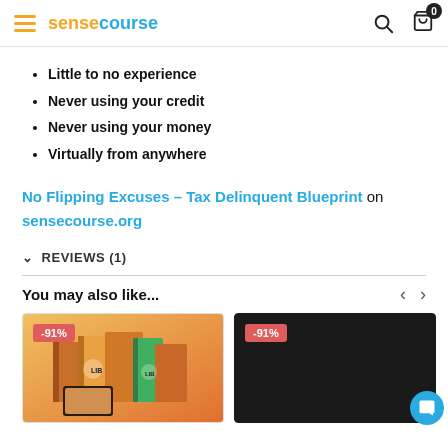sensecourse
Little to no experience
Never using your credit
Never using your money
Virtually from anywhere
No Flipping Excuses – Tax Delinquent Blueprint on sensecourse.org
REVIEWS (1)
You may also like...
[Figure (photo): Product image with -91% badge]
[Figure (photo): Dark product image with -91% badge]